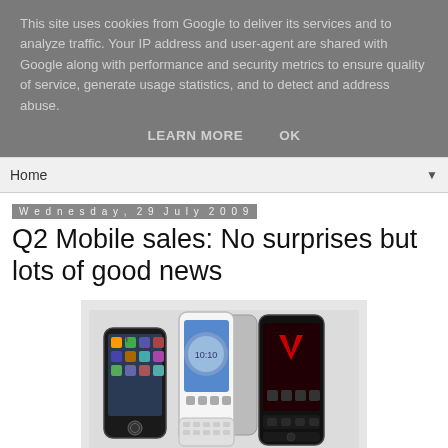This site uses cookies from Google to deliver its services and to analyze traffic. Your IP address and user-agent are shared with Google along with performance and security metrics to ensure quality of service, generate usage statistics, and to detect and address abuse.
LEARN MORE   OK
Home ▼
Wednesday, 29 July 2009
Q2 Mobile sales: No surprises but lots of good news
[Figure (photo): Three smartphones shown side by side: an Apple iPhone (black), an HTC G1/Dream Android phone (white), and a BlackBerry Storm (black with Verizon branding)]